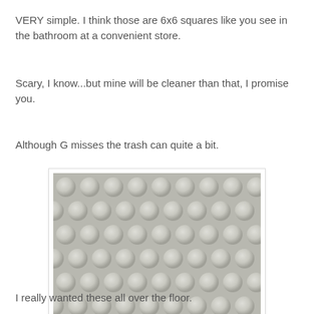VERY simple. I think those are 6x6 squares like you see in the bathroom at a convenient store.
Scary, I know...but mine will be cleaner than that, I promise you.
Although G misses the trash can quite a bit.
[Figure (photo): Close-up photo of penny round mosaic tiles — small circular grey/white ceramic tiles arranged in a grid pattern on a white grout backing.]
I really wanted these all over the floor.